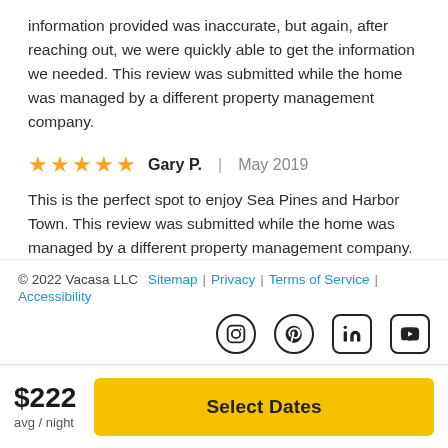information provided was inaccurate, but again, after reaching out, we were quickly able to get the information we needed. This review was submitted while the home was managed by a different property management company.
★★★★★ Gary P. | May 2019
This is the perfect spot to enjoy Sea Pines and Harbor Town. This review was submitted while the home was managed by a different property management company.
© 2022 Vacasa LLC  Sitemap | Privacy | Terms of Service | Accessibility
$222 avg / night  Select Dates